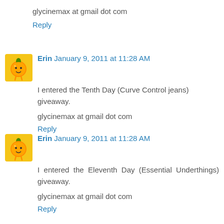glycinemax at gmail dot com
Reply
Erin  January 9, 2011 at 11:28 AM
I entered the Tenth Day (Curve Control jeans) giveaway.
glycinemax at gmail dot com
Reply
Erin  January 9, 2011 at 11:28 AM
I entered the Eleventh Day (Essential Underthings) giveaway.
glycinemax at gmail dot com
Reply